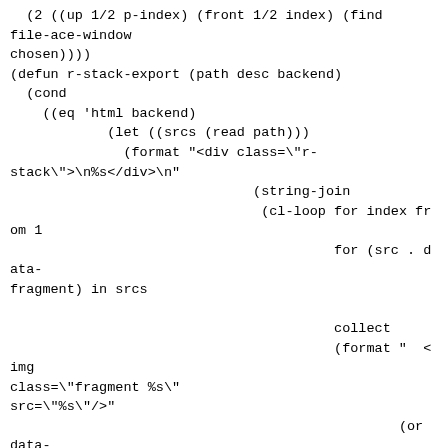(2 ((up 1/2 p-index) (front 1/2 index) (find
file-ace-window
chosen))))
(defun r-stack-export (path desc backend)
  (cond
    ((eq 'html backend)
            (let ((srcs (read path)))
              (format "<div class=\"r-
stack\">\n%s</div>\n"
                              (string-join
                               (cl-loop for index from 1
                                        for (src . data-
fragment) in srcs

                                        collect
                                        (format "  <img
class=\"fragment %s\"
src=\"%s\"/>"
                                                (or data-
fragment

                                                    (cond
                                                      ((eql 1
index) "fade-out")

                                                      ((eql
(length srcs) index)
 "fade-in")

                                                      (t "fade-
in-then-out")))
                                                src))
                              "\n"))))))